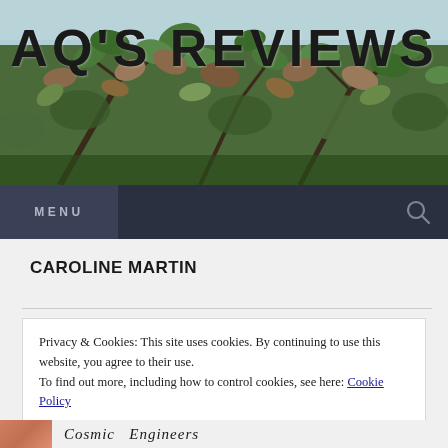[Figure (photo): Header photo of tropical tree branches with green and brown leaves against a light blue sky background]
AQ'S REVIEWS
MENU
CAROLINE MARTIN
Privacy & Cookies: This site uses cookies. By continuing to use this website, you agree to their use.
To find out more, including how to control cookies, see here: Cookie Policy
[Close and accept]
[Figure (photo): Partial view of a book cover (peach/coral colored) and the beginning of a book title in italic text reading 'Cosmic Engineers']